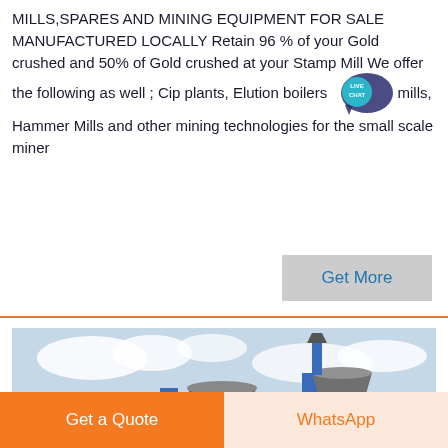MILLS,SPARES AND MINING EQUIPMENT FOR SALE MANUFACTURED LOCALLY Retain 96 % of your Gold crushed and 50% of Gold crushed at your Stamp Mill We offer the following as well ; Cip plants, Elution boilers mills, Hammer Mills and other mining technologies for the small scale miner
[Figure (photo): Industrial mining equipment — two large cylindrical silos or tanks with blue structural supports, photographed outdoors against a cloudy sky]
Get a Quote
WhatsApp